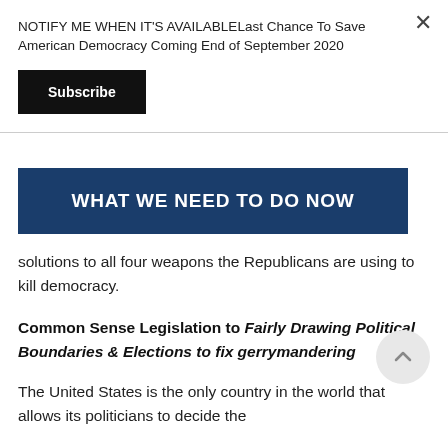NOTIFY ME WHEN IT'S AVAILABLELast Chance To Save American Democracy Coming End of September 2020
Subscribe
WHAT WE NEED TO DO NOW
solutions to all four weapons the Republicans are using to kill democracy.
Common Sense Legislation to Fairly Drawing Political Boundaries & Elections to fix gerrymandering
The United States is the only country in the world that allows its politicians to decide the